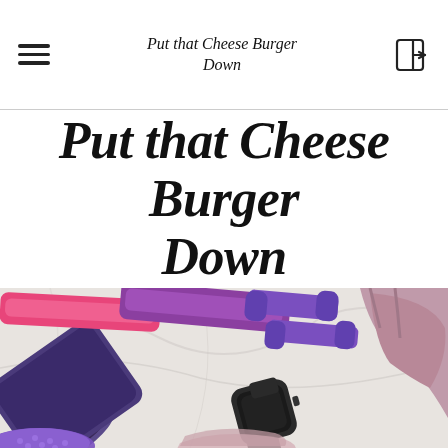Put that Cheese Burger Down
Put that Cheese Burger Down
[Figure (photo): Flat lay of fitness equipment on a marble surface including a rolled yoga mat, pink and purple resistance bands, two purple dumbbells, a black smartwatch, a mauve sports bra, and a purple balance disc.]